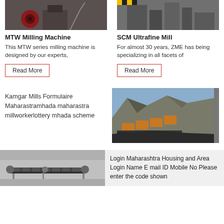[Figure (photo): MTW Milling Machine industrial equipment photo, red flywheel visible, staircase in background]
MTW Milling Machine
This MTW series milling machine is designed by our experts,
Read More
[Figure (photo): SCM Ultrafine Mill industrial equipment photo in factory setting]
SCM Ultrafine Mill
For almost 30 years, ZME has being specializing in all facets of
Read More
Kamgar Mills Formulaire Maharastramhada maharastra millworkerlottery mhada scheme
[Figure (photo): Quarry with conveyor belt equipment and rock face in background]
[Figure (photo): Industrial conveyor belt machine in factory]
Login Maharashtra Housing and Area Login Name E mail ID Mobile No Please enter the code shown